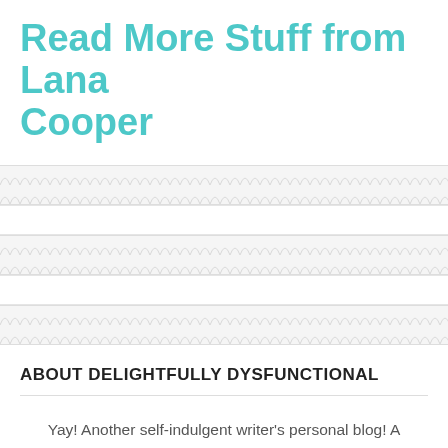Read More Stuff from Lana Cooper
ABOUT DELIGHTFULLY DYSFUNCTIONAL
Yay! Another self-indulgent writer's personal blog! A random repository of pop culture and personal musings, Delightfully Dysfunctional is where author Lana Cooper dumps her non-fiction word vomit. If